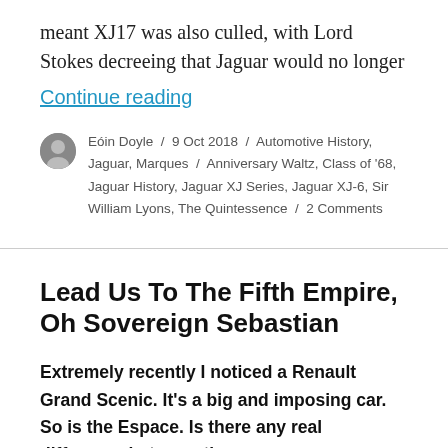meant XJ17 was also culled, with Lord Stokes decreeing that Jaguar would no longer
Continue reading
Eóin Doyle / 9 Oct 2018 / Automotive History, Jaguar, Marques / Anniversary Waltz, Class of '68, Jaguar History, Jaguar XJ Series, Jaguar XJ-6, Sir William Lyons, The Quintessence / 2 Comments
Lead Us To The Fifth Empire, Oh Sovereign Sebastian
Extremely recently I noticed a Renault Grand Scenic. It's a big and imposing car. So is the Espace. Is there any real difference between them